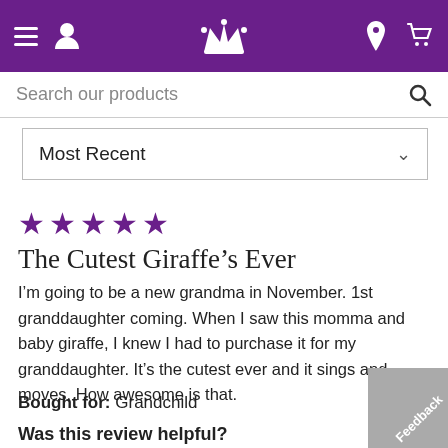Navigation bar with hamburger menu, user icon, crown logo, location icon, cart icon
Search our products
Most Recent
★★★★★
The Cutest Giraffe's Ever
I'm going to be a new grandma in November. 1st granddaughter coming. When I saw this momma and baby giraffe, I knew I had to purchase it for my granddaughter. It's the cutest ever and it sings and moves. How awesome is that.
Bought for: Grandchild
Was this review helpful?